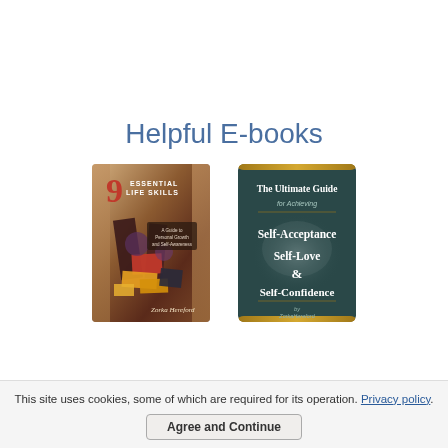Helpful E-books
[Figure (photo): Book cover: 9 Essential Life Skills by Zorka Hereford, with colorful abstract collage artwork on a warm brown background]
[Figure (photo): Book cover: The Ultimate Guide for Achieving Self-Acceptance, Self-Love & Self-Confidence by Zorka Hereford, dark teal background with gold horizontal bars]
This site uses cookies, some of which are required for its operation. Privacy policy.
Agree and Continue